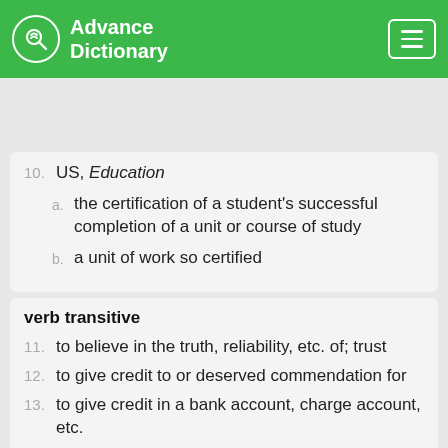Advance Dictionary
credited
10. US, Education
  a. the certification of a student's successful completion of a unit or course of study
  b. a unit of work so certified
verb transitive
11. to believe in the truth, reliability, etc. of; trust
12. to give credit to or deserved commendation for
13. to give credit in a bank account, charge account, etc.
14. Rare to bring honor to